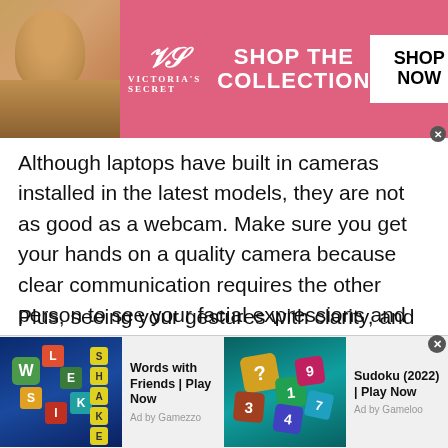[Figure (photo): Victoria's Secret advertisement banner with model, VS logo, 'SHOP THE COLLECTION' text, and SHOP NOW button]
Although laptops have built in cameras installed in the latest models, they are not as good as a webcam. Make sure you get your hands on a quality camera because clear communication requires the other person to see your facial expressions and your body language as clearly as possible.
Plus, seeing your gestures with clarity, and your body language is going to help you establish a long-term relationship. Clear communication helps the other person to understand you and guess what you might be feeling
[Figure (screenshot): Bottom advertisement bar with two ads: 'Words with Friends | Play Now' by Gamezzo and 'Sudoku (2022) | Play Now' by Gameloo]